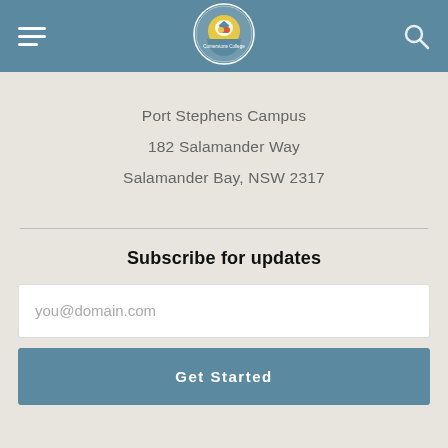Navigation header with hamburger menu, school logo, and search icon
Port Stephens Campus
182 Salamander Way
Salamander Bay, NSW 2317
Subscribe for updates
you@domain.com
Get Started